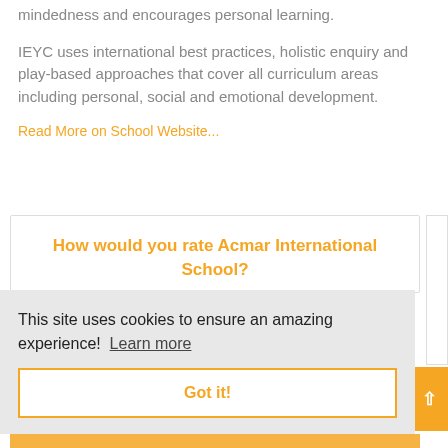mindedness and encourages personal learning.
IEYC uses international best practices, holistic enquiry and play-based approaches that cover all curriculum areas including personal, social and emotional development.
Read More on School Website...
How would you rate Acmar International School?
This site uses cookies to ensure an amazing experience!  Learn more
Got it!